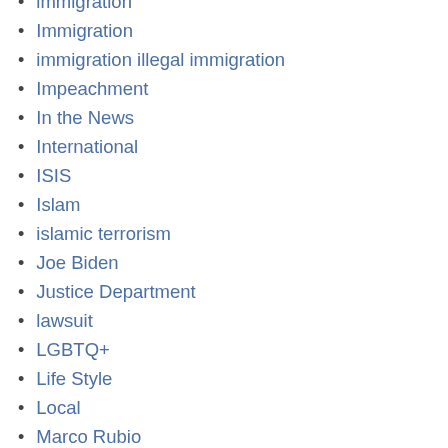immigration
Immigration
immigration illegal immigration
Impeachment
In the News
International
ISIS
Islam
islamic terrorism
Joe Biden
Justice Department
lawsuit
LGBTQ+
Life Style
Local
Marco Rubio
Marco Rubio
Military
National Politics